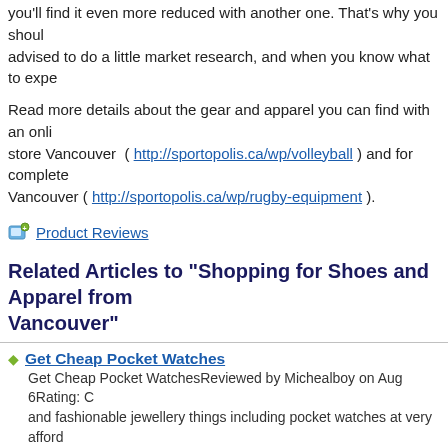you'll find it even more reduced with another one. That's why you should be advised to do a little market research, and when you know what to expe...
Read more details about the gear and apparel you can find with an online store Vancouver ( http://sportopolis.ca/wp/volleyball ) and for complete... Vancouver ( http://sportopolis.ca/wp/rugby-equipment ).
Product Reviews
Related Articles to "Shopping for Shoes and Apparel from... Vancouver"
Get Cheap Pocket Watches — Get Cheap Pocket WatchesReviewed by Michealboy on Aug 6Rating: C... and fashionable jewellery things including pocket watches at very afforda... Read more
Tips For Choosing Your Auto Insurance Company — Tips For Choosing Your Auto Insurance CompanyReviewed by Cameron... accident, it truly is good to have a security net. Needless to.. Read more
Find the Perfect Babydoll Lingerie and Stayups for Wedding N... — Find the Perfect Babydoll Lingerie and Stayups for Wedding NightsRevi... brides put a lot of thought into picking their wedding gowns and sometim...